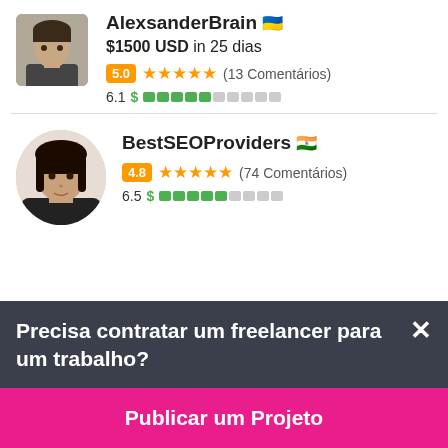AlexsanderBrain 🇺🇦
$1500 USD in 25 dias
5.0 ★★★★★ (13 Comentários)
6.1 $ ▓▓▓▓▓░░░░░
BestSEOProviders 🇮🇳
4.8 ★★★★★ (74 Comentários)
6.5 $ ▓▓▓▓▓░░░░
Precisa contratar um freelancer para um trabalho?
Publicar um Projeto